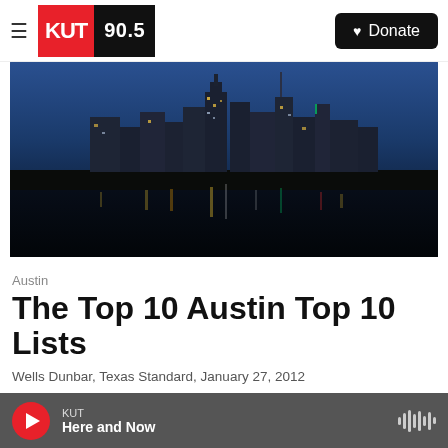KUT 90.5 | Donate
[Figure (photo): Austin skyline at night reflected in water, with illuminated skyscrapers against a blue night sky]
Austin
The Top 10 Austin Top 10 Lists
Wells Dunbar, Texas Standard,  January 27, 2012
It's gotten so that you can hardly count to ten without hearing about Austin's latest accolade
KUT  Here and Now